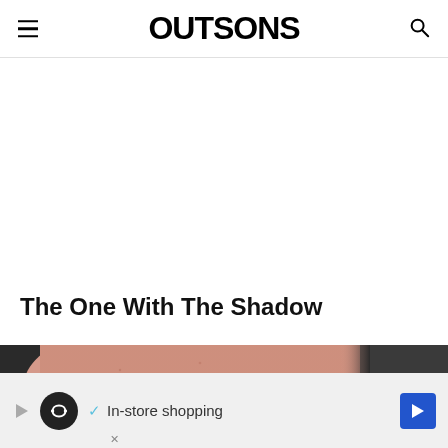OUTSONS
The One With The Shadow
[Figure (photo): Close-up photo of a person's arm or shoulder area showing skin tone with a dark shadow on the right side, dark background visible.]
[Figure (other): Advertisement banner with play button, circular logo with infinity symbol, checkmark and text 'In-store shopping', and blue diamond arrow button.]